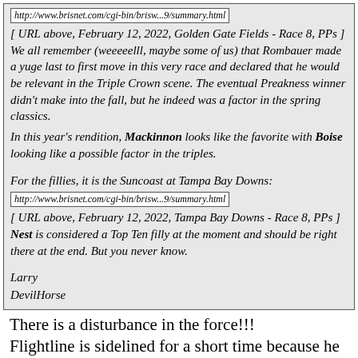http://www.brisnet.com/cgi-bin/brisw...9/summary.html
[ URL above, February 12, 2022, Golden Gate Fields - Race 8, PPs ] We all remember (weeeeelll, maybe some of us) that Rombauer made a yuge last to first move in this very race and declared that he would be relevant in the Triple Crown scene. The eventual Preakness winner didn't make into the fall, but he indeed was a factor in the spring classics.
In this year's rendition, Mackinnon looks like the favorite with Boise looking like a possible factor in the triples.
For the fillies, it is the Suncoast at Tampa Bay Downs:
http://www.brisnet.com/cgi-bin/brisw...9/summary.html
[ URL above, February 12, 2022, Tampa Bay Downs - Race 8, PPs ] Nest is considered a Top Ten filly at the moment and should be right there at the end. But you never know.
Larry
DevilHorse
There is a disturbance in the force!!! Flightline is sidelined for a short time because he is not quite right. They think it is a small thing "a little strain in his hock", which is the middle, backward facing joint